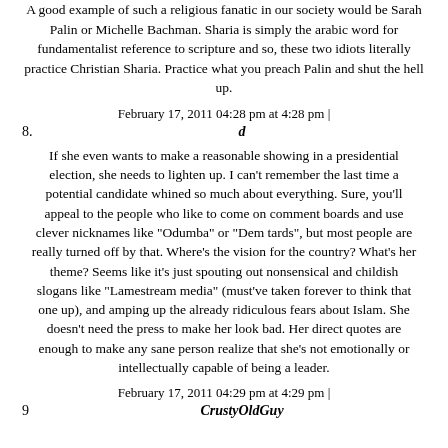A good example of such a religious fanatic in our society would be Sarah Palin or Michelle Bachman. Sharia is simply the arabic word for fundamentalist reference to scripture and so, these two idiots literally practice Christian Sharia. Practice what you preach Palin and shut the hell up.
February 17, 2011 04:28 pm at 4:28 pm |
8.   d
If she even wants to make a reasonable showing in a presidential election, she needs to lighten up. I can't remember the last time a potential candidate whined so much about everything. Sure, you'll appeal to the people who like to come on comment boards and use clever nicknames like "Odumba" or "Dem tards", but most people are really turned off by that. Where's the vision for the country? What's her theme? Seems like it's just spouting out nonsensical and childish slogans like "Lamestream media" (must've taken forever to think that one up), and amping up the already ridiculous fears about Islam. She doesn't need the press to make her look bad. Her direct quotes are enough to make any sane person realize that she's not emotionally or intellectually capable of being a leader.
February 17, 2011 04:29 pm at 4:29 pm |
9.   CrustyOldGuy